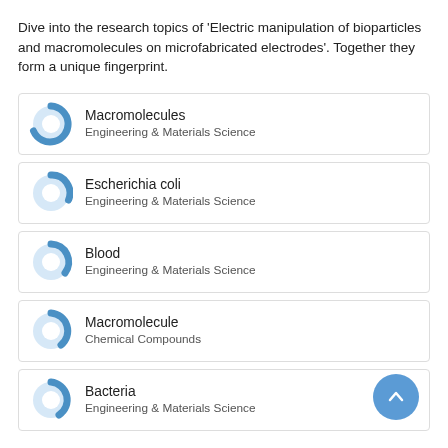Dive into the research topics of 'Electric manipulation of bioparticles and macromolecules on microfabricated electrodes'. Together they form a unique fingerprint.
Macromolecules
Engineering & Materials Science
Escherichia coli
Engineering & Materials Science
Blood
Engineering & Materials Science
Macromolecule
Chemical Compounds
Bacteria
Engineering & Materials Science